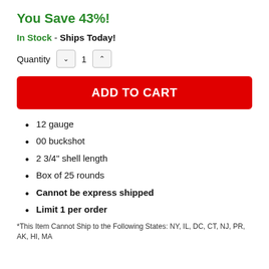You Save 43%!
In Stock - Ships Today!
Quantity 1
ADD TO CART
12 gauge
00 buckshot
2 3/4" shell length
Box of 25 rounds
Cannot be express shipped
Limit 1 per order
*This Item Cannot Ship to the Following States: NY, IL, DC, CT, NJ, PR, AK, HI, MA